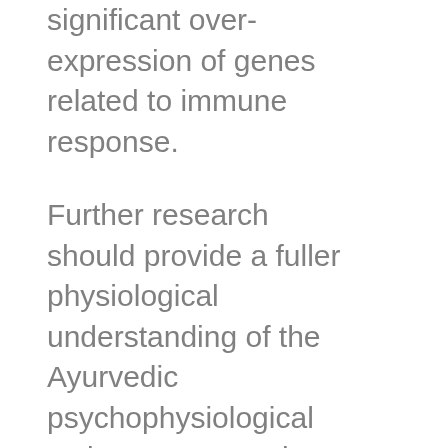significant over-expression of genes related to immune response.
Further research should provide a fuller physiological understanding of the Ayurvedic psychophysiological typing system and thus help to introduce it more widely to the West. On the basis of this system, Maharishi Ayurveda provides a comprehensive nutritional and dietary